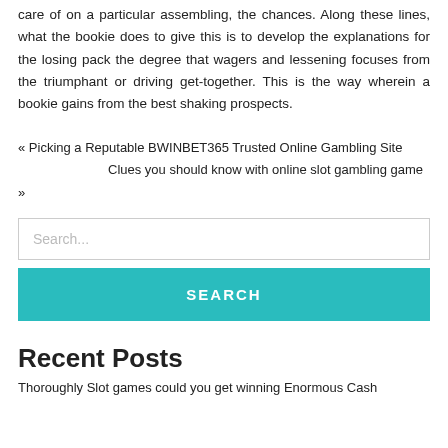care of on a particular assembling, the chances. Along these lines, what the bookie does to give this is to develop the explanations for the losing pack the degree that wagers and lessening focuses from the triumphant or driving get-together. This is the way wherein a bookie gains from the best shaking prospects.
« Picking a Reputable BWINBET365 Trusted Online Gambling Site
Clues you should know with online slot gambling game »
Search...
SEARCH
Recent Posts
Thoroughly Slot games could you get winning Enormous Cash